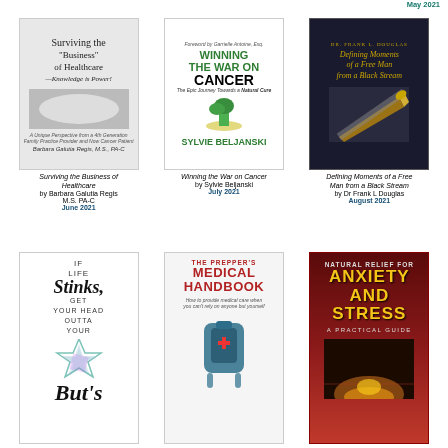May 2021
[Figure (illustration): Book cover: Surviving the Business of Healthcare — Knowledge is Power! by Barbara Galutia Regis M.S. PA-C]
Surviving the Business of Healthcare
by Barbara Galutia Regis M.S. PA-C
June 2021
[Figure (illustration): Book cover: Winning the War on Cancer — The Epic Journey Towards a Natural Cure by Sylvie Beljanski]
Winning the War on Cancer
by Sylvie Beljanski
July 2021
[Figure (illustration): Book cover: Defining Moments of a Free Man from a Black Stream by Dr Frank L Douglas]
Defining Moments of a Free Man from a Black Stream
by Dr Frank L Douglas
August 2021
[Figure (illustration): Book cover: If Life Stinks Get Your Head Outta Your Butt]
[Figure (illustration): Book cover: The Prepper's Medical Handbook — How to provide medical care when you can't rely on anyone but yourself]
[Figure (illustration): Book cover: Natural Relief for Anxiety and Stress — A Practical Guide]